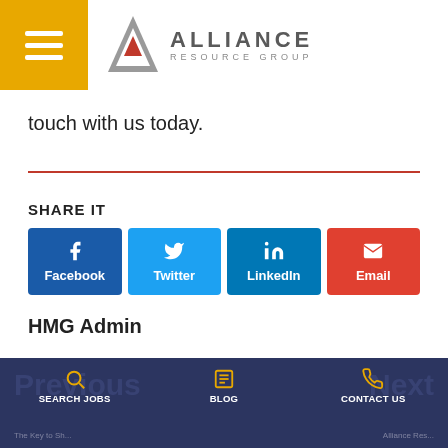[Figure (logo): Alliance Resource Group logo with hamburger menu icon on gold background]
touch with us today.
SHARE IT
[Figure (infographic): Share buttons for Facebook, Twitter, LinkedIn, and Email]
HMG Admin
SEARCH JOBS | BLOG | CONTACT US